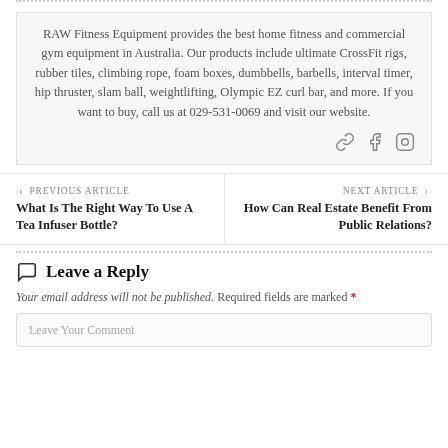RAW Fitness Equipment provides the best home fitness and commercial gym equipment in Australia. Our products include ultimate CrossFit rigs, rubber tiles, climbing rope, foam boxes, dumbbells, barbells, interval timer, hip thruster, slam ball, weightlifting, Olympic EZ curl bar, and more. If you want to buy, call us at 029-531-0069 and visit our website.
[Figure (other): Social media icons: link/chain icon, Facebook icon, Instagram icon]
< PREVIOUS ARTICLE
What Is The Right Way To Use A Tea Infuser Bottle?
NEXT ARTICLE >
How Can Real Estate Benefit From Public Relations?
Leave a Reply
Your email address will not be published. Required fields are marked *
Leave Your Comment